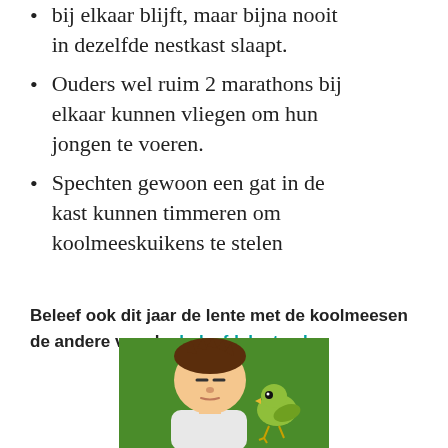bij elkaar blijft, maar bijna nooit in dezelfde nestkast slaapt.
Ouders wel ruim 2 marathons bij elkaar kunnen vliegen om hun jongen te voeren.
Spechten gewoon een gat in de kast kunnen timmeren om koolmeeskuikens te stelen
Beleef ook dit jaar de lente met de koolmeesen de andere vogels: beleefdelente.nl.
[Figure (illustration): Cartoon illustration of a boy with spiky brown hair and a bird on a green background]